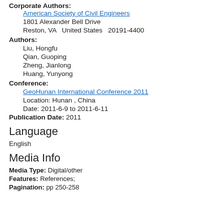Corporate Authors:
American Society of Civil Engineers
1801 Alexander Bell Drive
Reston, VA  United States  20191-4400
Authors:
Liu, Hongfu
Qian, Guoping
Zheng, Jianlong
Huang, Yunyong
Conference:
GeoHunan International Conference 2011
Location: Hunan , China
Date: 2011-6-9 to 2011-6-11
Publication Date: 2011
Language
English
Media Info
Media Type: Digital/other
Features: References;
Pagination: pp 250-258